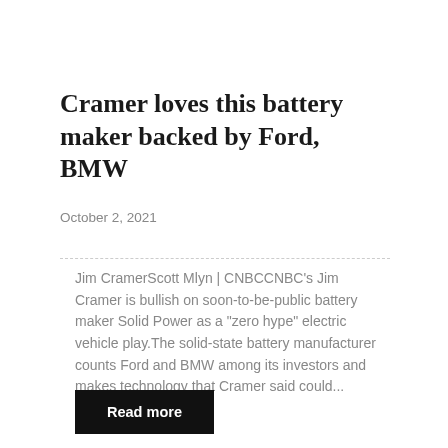Cramer loves this battery maker backed by Ford, BMW
October 2, 2021
Jim CramerScott Mlyn | CNBCCNBC's Jim Cramer is bullish on soon-to-be-public battery maker Solid Power as a "zero hype" electric vehicle play.The solid-state battery manufacturer counts Ford and BMW among its investors and makes technology that Cramer said could...
Read more